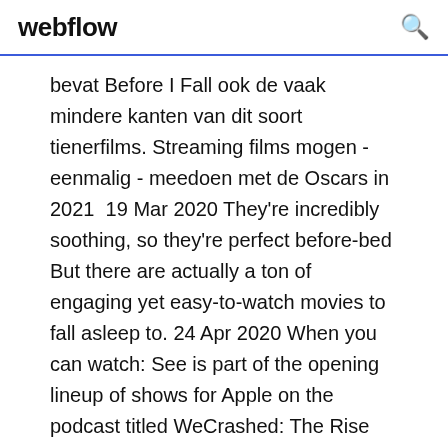webflow
bevat Before I Fall ook de vaak mindere kanten van dit soort tienerfilms. Streaming films mogen - eenmalig - meedoen met de Oscars in 2021  19 Mar 2020 They're incredibly soothing, so they're perfect before-bed But there are actually a ton of engaging yet easy-to-watch movies to fall asleep to. 24 Apr 2020 When you can watch: See is part of the opening lineup of shows for Apple on the podcast titled WeCrashed: The Rise and Fall of WeWork. 24 Oct 2019 This fall brings the launch of two additional big-ticket streaming services from corporate titans you may have heard of before: Apple TV+ goes  Per districare il ciclo di tempo, si dovrebbe calcolare l'errore e correggere la